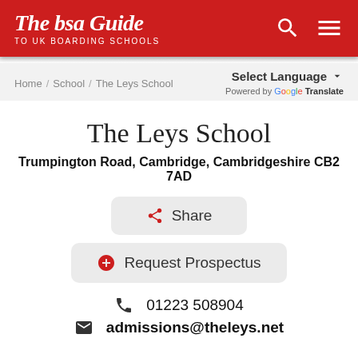The bsa Guide TO UK BOARDING SCHOOLS
Home / School / The Leys School
Select Language — Powered by Google Translate
The Leys School
Trumpington Road, Cambridge, Cambridgeshire CB2 7AD
Share
Request Prospectus
01223 508904
admissions@theleys.net